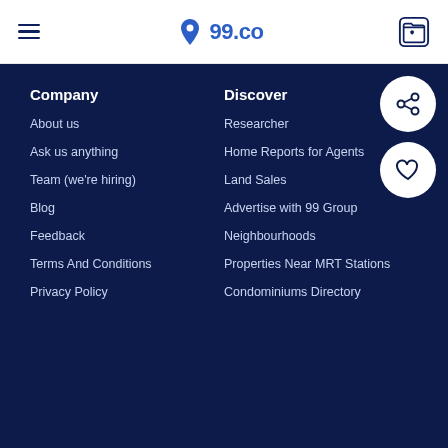99.co navigation header
Company
About us
Ask us anything
Team (we're hiring)
Blog
Feedback
Terms And Conditions
Privacy Policy
Discover
Researcher
Home Reports for Agents
Land Sales
Advertise with 99 Group
Neighbourhoods
Properties Near MRT Stations
Condominiums Directory